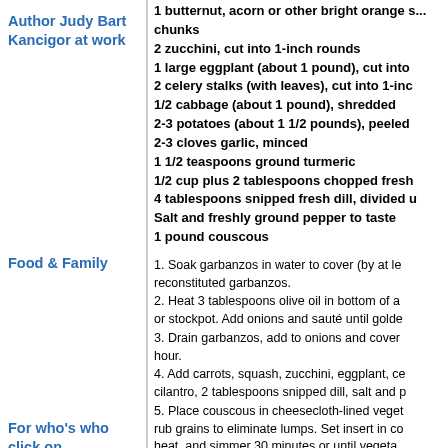Author Judy Bart Kancigor at work
1 butternut, acorn or other bright orange s... chunks
2 zucchini, cut into 1-inch rounds
1 large eggplant (about 1 pound), cut into
2 celery stalks (with leaves), cut into 1-inc
1/2 cabbage (about 1 pound), shredded
2-3 potatoes (about 1 1/2 pounds), peeled
2-3 cloves garlic, minced
1 1/2 teaspoons ground turmeric
1/2 cup plus 2 tablespoons chopped fresh
4 tablespoons snipped fresh dill, divided u
Salt and freshly ground pepper to taste
1 pound couscous
Food & Family
1. Soak garbanzos in water to cover (by at le... reconstituted garbanzos.
2. Heat 3 tablespoons olive oil in bottom of a... or stockpot. Add onions and sauté until golde
3. Drain garbanzos, add to onions and cover... hour.
4. Add carrots, squash, zucchini, eggplant, ce... cilantro, 2 tablespoons snipped dill, salt and p
5. Place couscous in cheesecloth-lined veget... rub grains to eliminate lumps. Set insert in co... heat, and simmer 30 minutes or until vegeta
For who's who click on photo